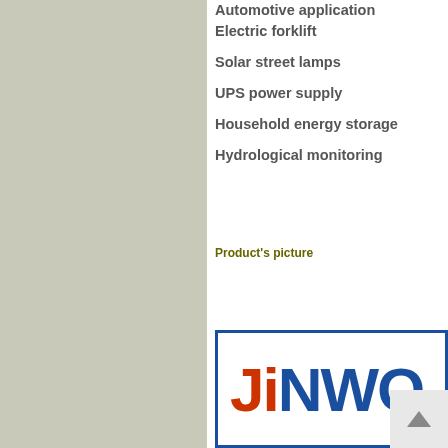Automotive application
Electric forklift
Solar street lamps
UPS power supply
Household energy storage
Hydrological monitoring
Product's picture
[Figure (logo): JINWO company logo with orange J and blue NWO letters inside a blue bordered rectangle]